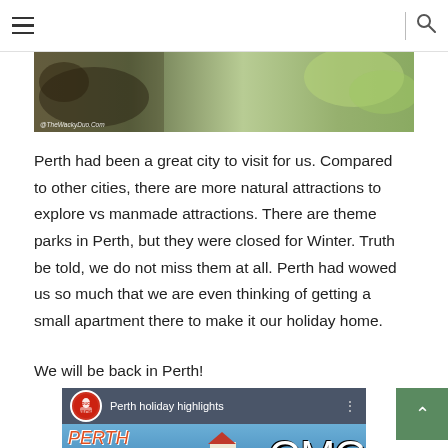≡ | 🔍
[Figure (photo): A nature/wildlife photo strip showing animals and foliage, with watermark '@TheWackyDuo.com']
Perth had been a great city to visit for us. Compared to other cities, there are more natural attractions to explore vs manmade attractions. There are theme parks in Perth, but they were closed for Winter. Truth be told, we do not miss them at all. Perth had wowed us so much that we are even thinking of getting a small apartment there to make it our holiday home.
We will be back in Perth!
[Figure (screenshot): Embedded YouTube video thumbnail titled 'Perth holiday highlights' by Wacky Duo channel, showing Perth Holidays text in orange over a water/dock scene, with OMG text on the right side]